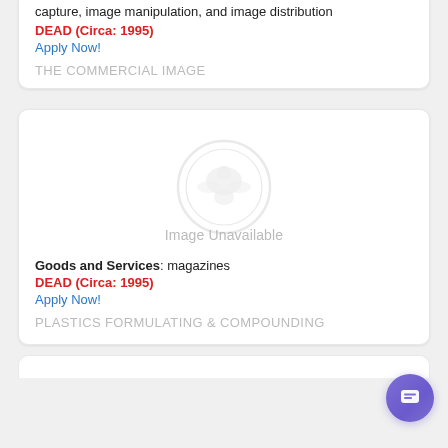capture, image manipulation, and image distribution
DEAD (Circa: 1995)
Apply Now!
THE COMMERCIAL IMAGE
[Figure (other): Image Unavailable placeholder with USPTO seal watermark]
Goods and Services: magazines
DEAD (Circa: 1995)
Apply Now!
PLASTICS FORMULATING & COMPOUNDING